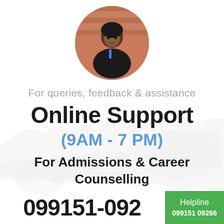[Figure (photo): Circular portrait photo of a young woman in a black jacket against a brick wall background]
For queries, feedback & assistance
Online Support
(9AM - 7 PM)
For Admissions & Career Counselling
099151-092
Helpline
099151 09266